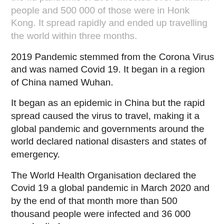the flu pandemic of 1957 infected over 2 million people and 500 000 of those were in Honk Kong. It spread rapidly and ended up travelling the world within three months.
2019 Pandemic stemmed from the Corona Virus and was named Covid 19. It began in a region of China named Wuhan.
It began as an epidemic in China but the rapid spread caused the virus to travel, making it a global pandemic and governments around the world declared national disasters and states of emergency.
The World Health Organisation declared the Covid 19 a global pandemic in March 2020 and by the end of that month more than 500 thousand people were infected and 36 000 people died.
In America, the rate of infection is spiking today with more than 2 million cases of infection and Italy was one of the